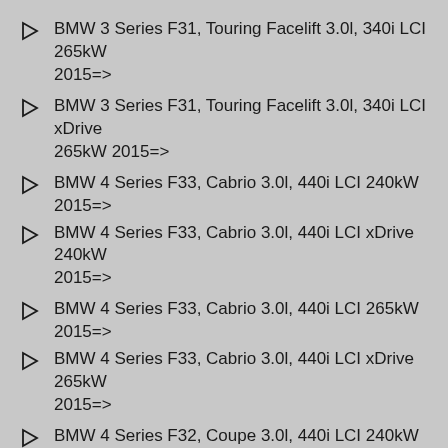BMW 3 Series F31, Touring Facelift 3.0l, 340i LCI 265kW 2015=>
BMW 3 Series F31, Touring Facelift 3.0l, 340i LCI xDrive 265kW 2015=>
BMW 4 Series F33, Cabrio 3.0l, 440i LCI 240kW 2015=>
BMW 4 Series F33, Cabrio 3.0l, 440i LCI xDrive 240kW 2015=>
BMW 4 Series F33, Cabrio 3.0l, 440i LCI 265kW 2015=>
BMW 4 Series F33, Cabrio 3.0l, 440i LCI xDrive 265kW 2015=>
BMW 4 Series F32, Coupe 3.0l, 440i LCI 240kW 2015=>
BMW 4 Series F32, Coupe 3.0l, 440i LCI xDrive 240kW 2015=>